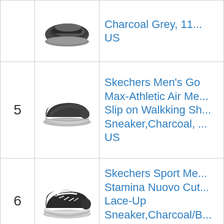| # | Image | Product Name |
| --- | --- | --- |
|  |  | Charcoal Grey, 11... US |
| 5 | [shoe image] | Skechers Men's Go Max-Athletic Air Me... Slip on Walkking Sh... Sneaker,Charcoal, ... US |
| 6 | [shoe image] | Skechers Sport Me... Stamina Nuovo Cut... Lace-Up Sneaker,Charcoal/B... M US |